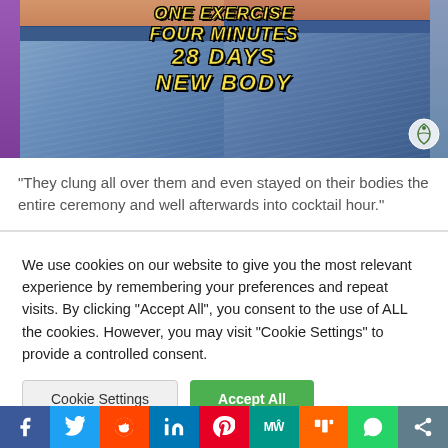[Figure (photo): Before and after photo of two torsos in jeans with text overlay: ONE EXERCISE / FOUR MINUTES / 28 DAYS / NEW BODY]
“They clung all over them and even stayed on their bodies the entire ceremony and well afterwards into cocktail hour.”
We use cookies on our website to give you the most relevant experience by remembering your preferences and repeat visits. By clicking “Accept All”, you consent to the use of ALL the cookies. However, you may visit “Cookie Settings” to provide a controlled consent.
Cookie Settings | Accept All | Social share bar: Facebook, Twitter, Reddit, LinkedIn, Pinterest, MW, Mix, WhatsApp, Share